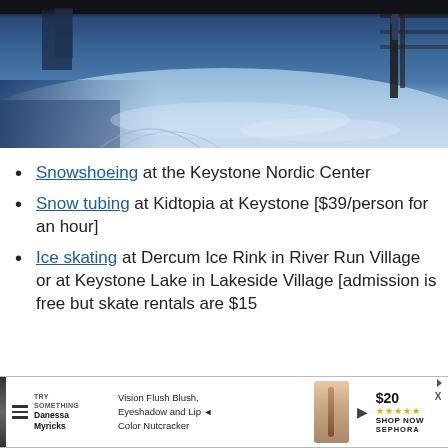[Figure (photo): Snow-covered Nordic ski area scene with deep blue shadows on groomed snow, fence structure visible at upper right, taken at Keystone ski resort]
Snowshoeing at the Keystone Nordic Center
Snow tubing at Kidtopia at Keystone [$39/person for an hour]
Ice skating at Dercum Ice Rink in River Run Village or at Keystone Lake in Lakeside Village [admission is free but skate rentals are $15
[Figure (screenshot): Advertisement banner for Danessa Myricks beauty product — Vision Flush Blush, Eyeshadow and Lip Color Nutcracker, $20, 5 stars, Shop Now, Sephora]